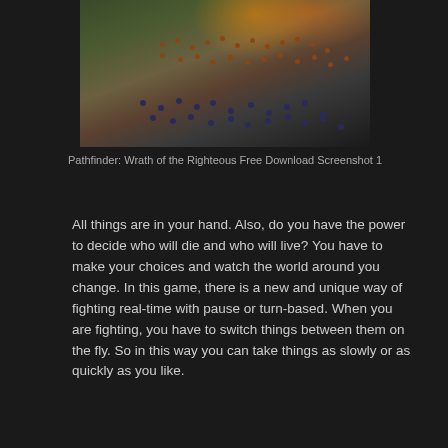[Figure (screenshot): Top-down view of a battle scene from Pathfinder: Wrath of the Righteous, showing soldiers/units on a battlefield with fire/explosions in the background]
Pathfinder: Wrath of the Righteous Free Download Screenshot 1
All things are in your hand. Also, do you have the power to decide who will die and who will live? You have to make your choices and watch the world around you change. In this game, there is a new and unique way of fighting real-time with pause or turn-based. When you are fighting, you have to switch things between them on the fly. So in this way you can take things as slowly or as quickly as you like.